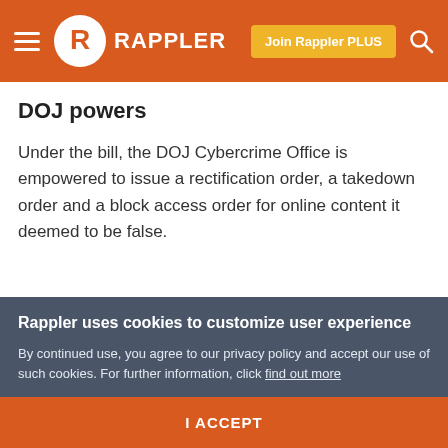Rappler
DOJ powers
Under the bill, the DOJ Cybercrime Office is empowered to issue a rectification order, a takedown order and a block access order for online content it deemed to be false.
The bill even adds that there need not be a complainant when the content is a public issue.
"In matters affecting the public interest, the same office
Rappler uses cookies to customize user experience
By continued use, you agree to our privacy policy and accept our use of such cookies. For further information, click find out more
I ACCEPT